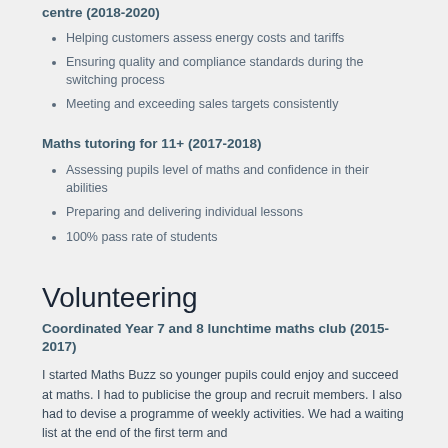centre (2018-2020)
Helping customers assess energy costs and tariffs
Ensuring quality and compliance standards during the switching process
Meeting and exceeding sales targets consistently
Maths tutoring for 11+ (2017-2018)
Assessing pupils level of maths and confidence in their abilities
Preparing and delivering individual lessons
100% pass rate of students
Volunteering
Coordinated Year 7 and 8 lunchtime maths club (2015-2017)
I started Maths Buzz so younger pupils could enjoy and succeed at maths. I had to publicise the group and recruit members. I also had to devise a programme of weekly activities. We had a waiting list at the end of the first term and